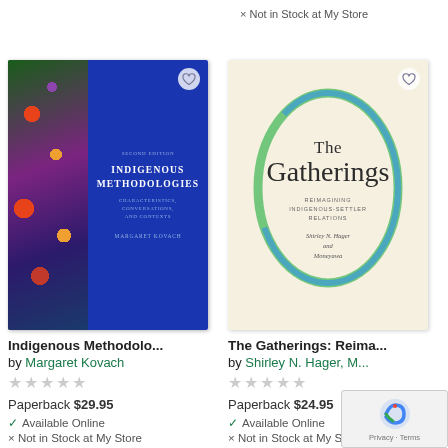× Not in Stock at My Store
[Figure (photo): Book cover of Indigenous Methodologies, Second Edition by Margaret Kovach. Left half shows aboriginal dot art pattern in greens, reds, purples. Right half is blue with white title text.]
[Figure (photo): Book cover of The Gatherings: Reimagining Indigenous-Settler Relations by Shirley N. Hager et al. Cream background with green and blue oval swoosh design around the title text.]
Indigenous Methodolo...
by Margaret Kovach
Paperback $29.95
✓ Available Online
× Not in Stock at My Store
The Gatherings: Reima...
by Shirley N. Hager, M...
Paperback $24.95
✓ Available Online
× Not in Stock at My Sto...